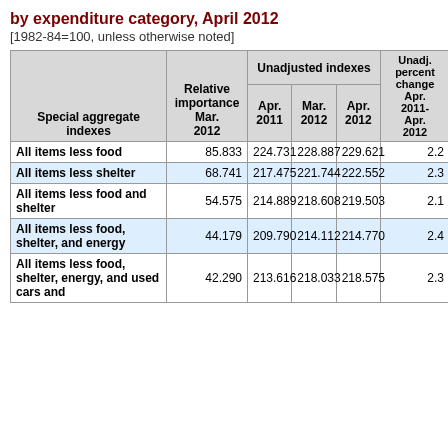by expenditure category, April 2012
[1982-84=100, unless otherwise noted]
| Special aggregate indexes | Relative importance Mar. 2012 | Apr. 2011 | Mar. 2012 | Apr. 2012 | Unadj. percent change Apr. 2011-Apr. 2012 |
| --- | --- | --- | --- | --- | --- |
| All items less food | 85.833 | 224.731 | 228.887 | 229.621 | 2.2 |
| All items less shelter | 68.741 | 217.475 | 221.744 | 222.552 | 2.3 |
| All items less food and shelter | 54.575 | 214.889 | 218.608 | 219.503 | 2.1 |
| All items less food, shelter, and energy | 44.179 | 209.790 | 214.112 | 214.770 | 2.4 |
| All items less food, shelter, energy, and used cars and | 42.290 | 213.616 | 218.033 | 218.575 | 2.3 |